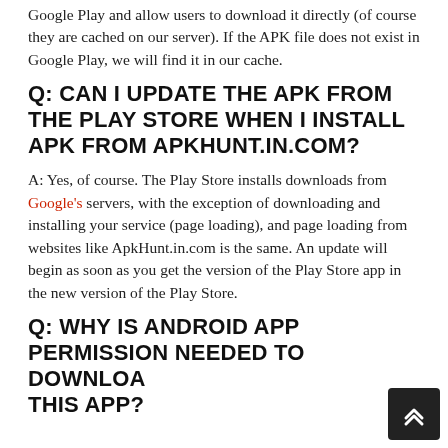Google Play and allow users to download it directly (of course they are cached on our server). If the APK file does not exist in Google Play, we will find it in our cache.
Q: CAN I UPDATE THE APK FROM THE PLAY STORE WHEN I INSTALL APK FROM APKHUNT.IN.COM?
A: Yes, of course. The Play Store installs downloads from Google's servers, with the exception of downloading and installing your service (page loading), and page loading from websites like ApkHunt.in.com is the same. An update will begin as soon as you get the version of the Play Store app in the new version of the Play Store.
Q: WHY IS ANDROID APP PERMISSION NEEDED TO DOWNLOAD THIS APP?